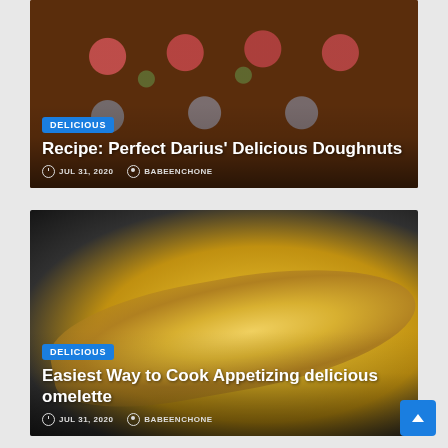[Figure (photo): Food blog card showing decorated doughnuts on a wooden board, with blue/pink frosting. Overlaid with category tag, title, date and author.]
Recipe: Perfect Darius' Delicious Doughnuts
JUL 31, 2020   BABEENCHONE
[Figure (photo): Food blog card showing a golden folded omelette in a dark pan. Overlaid with category tag, title, date and author.]
Easiest Way to Cook Appetizing delicious omelette
JUL 31, 2020   BABEENCHONE